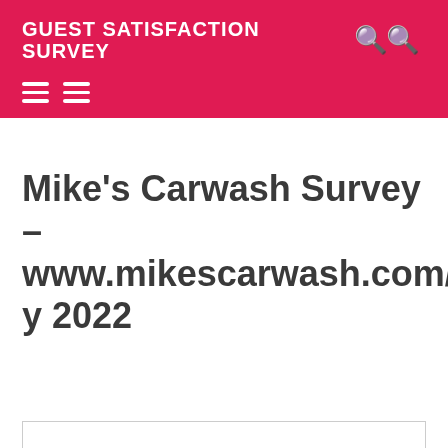GUEST SATISFACTION SURVEY
Mike's Carwash Survey – www.mikescarwash.com/survey 2022